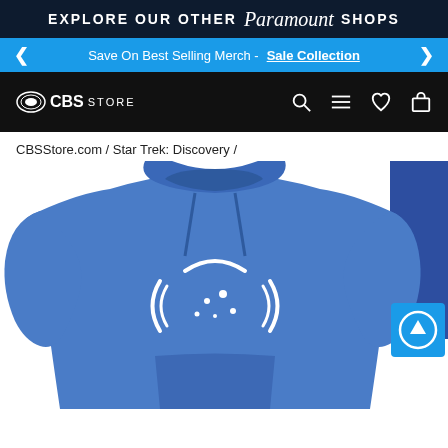EXPLORE OUR OTHER Paramount SHOPS
Save On Best Selling Merch - Sale Collection
[Figure (logo): CBS Store navigation bar with CBS eye logo, search, menu, heart, and bag icons]
CBSStore.com / Star Trek: Discovery /
[Figure (photo): Blue Star Trek Discovery hoodie with white Starfleet logo on chest, shown on white background. Blue scroll-up button and accessibility button visible on right side.]